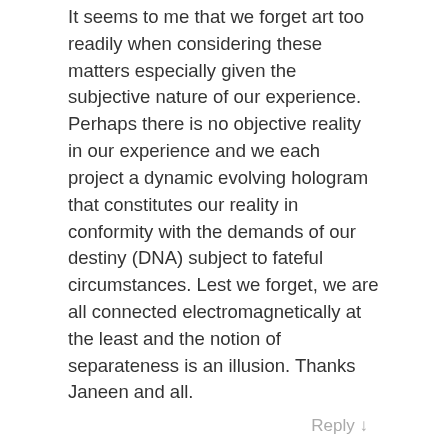It seems to me that we forget art too readily when considering these matters especially given the subjective nature of our experience. Perhaps there is no objective reality in our experience and we each project a dynamic evolving hologram that constitutes our reality in conformity with the demands of our destiny (DNA) subject to fateful circumstances. Lest we forget, we are all connected electromagnetically at the least and the notion of separateness is an illusion. Thanks Janeen and all.
Reply ↓
John - 01/17/2016 at 19:43
Holy **** Janeen you are ********. Your argument for why the universe doesn't have a creator is because there's suffering? Makes a lot of sense. Maybe your conception of whatever it was before it just too narrow, did you ever consider that? Maybe god doesn't give a s*** about your little bit of human suffering?